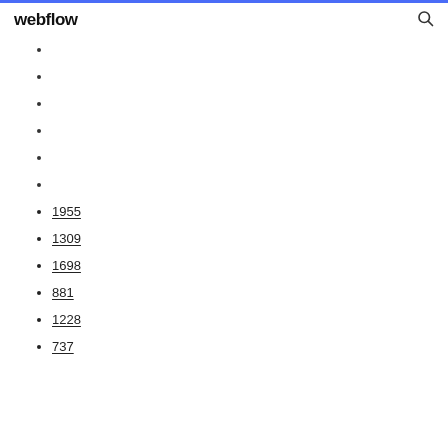webflow
1955
1309
1698
881
1228
737